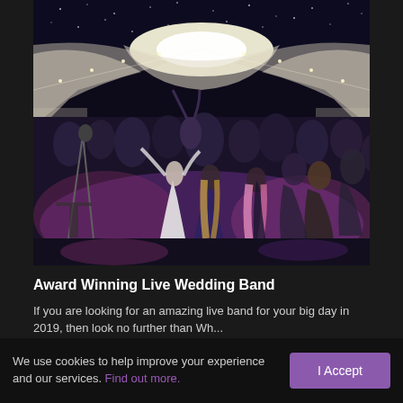[Figure (photo): Photo of a crowded wedding reception inside a marquee tent with fairy lights on the ceiling. Guests are dancing on the dance floor under purple and pink lighting. A bride in white and other guests in formal wear are visible.]
Award Winning Live Wedding Band
If you are looking for an amazing live band for your big day in 2019, then look no further than What...
We use cookies to help improve your experience and our services. Find out more.